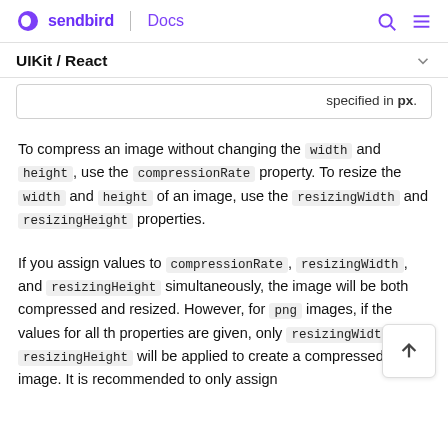sendbird | Docs
UIKit / React
| specified in px. |
To compress an image without changing the width and height, use the compressionRate property. To resize the width and height of an image, use the resizingWidth and resizingHeight properties.
If you assign values to compressionRate, resizingWidth, and resizingHeight simultaneously, the image will be both compressed and resized. However, for png images, if the values for all the properties are given, only resizingWidth and resizingHeight will be applied to create a compressed image. It is recommended to only assign